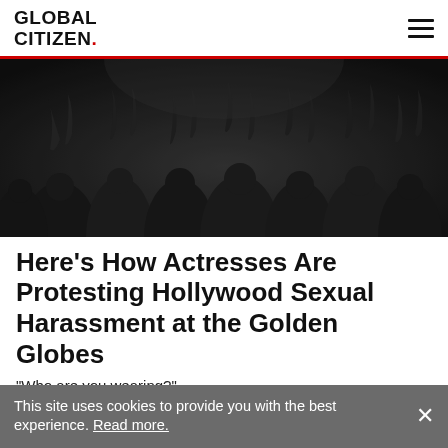GLOBAL CITIZEN.
[Figure (photo): Black and white photo of a crowd of people with raised hands, seen from behind, at what appears to be a concert or protest event.]
Here’s How Actresses Are Protesting Hollywood Sexual Harassment at the Golden Globes
“Who are you wearing?”
This site uses cookies to provide you with the best experience. Read more.